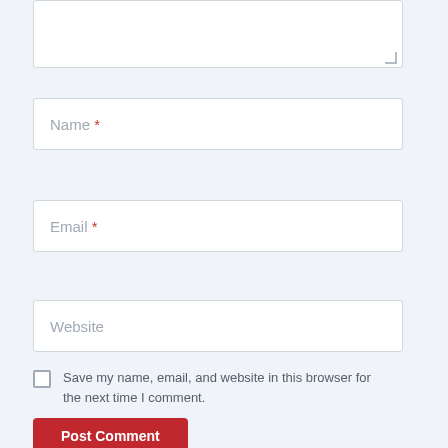[Figure (screenshot): Textarea input box (comment field) partially visible at top of page with resize handle in bottom-right corner]
Name *
Email *
Website
Save my name, email, and website in this browser for the next time I comment.
Post Comment